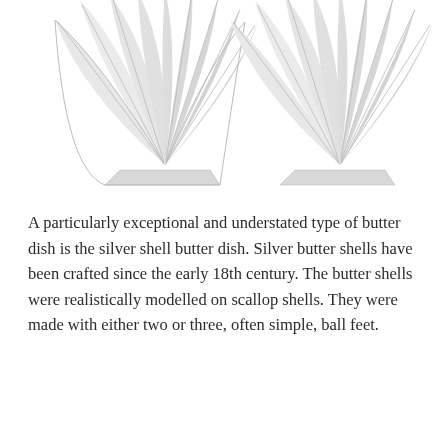[Figure (photo): Two silver scallop shell butter dishes photographed against a white background. Each shell is realistically modelled with fan-shaped ribbed ridges radiating from a flat base, crafted in polished silver.]
A particularly exceptional and understated type of butter dish is the silver shell butter dish. Silver butter shells have been crafted since the early 18th century. The butter shells were realistically modelled on scallop shells. They were made with either two or three, often simple, ball feet.